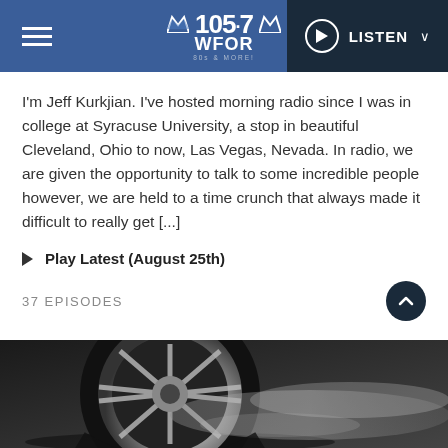105.7 WFOR | LISTEN
I'm Jeff Kurkjian. I've hosted morning radio since I was in college at Syracuse University, a stop in beautiful Cleveland, Ohio to now, Las Vegas, Nevada. In radio, we are given the opportunity to talk to some incredible people however, we are held to a time crunch that always made it difficult to really get [...]
Play Latest (August 25th)
37 EPISODES
[Figure (photo): Black and white close-up photo of a car wheel/tire and chrome rim, with motion blur or smoke effect]